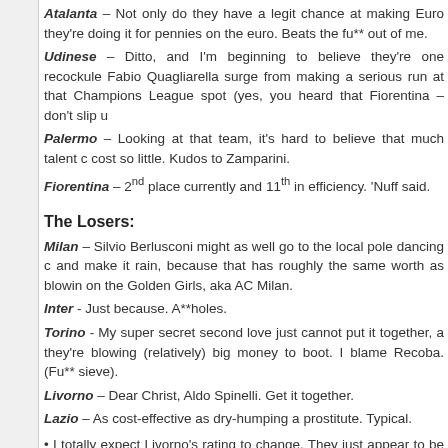Atalanta – Not only do they have a legit chance at making Euro they're doing it for pennies on the euro. Beats the fu** out of me.
Udinese – Ditto, and I'm beginning to believe they're one recockule Fabio Quagliarella surge from making a serious run at that Champions League spot (yes, you heard that Fiorentina – don't slip u
Palermo – Looking at that team, it's hard to believe that much talent c cost so little. Kudos to Zamparini.
Fiorentina – 2nd place currently and 11th in efficiency. 'Nuff said.
The Losers:
Milan – Silvio Berlusconi might as well go to the local pole dancing c and make it rain, because that has roughly the same worth as blowin on the Golden Girls, aka AC Milan.
Inter - Just because. A**holes.
Torino - My super secret second love just cannot put it together, a they're blowing (relatively) big money to boot. I blame Recoba. (Fu** sieve).
Livorno – Dear Christ, Aldo Spinelli. Get it together.
Lazio – As cost-effective as dry-humping a prostitute. Typical.
• I totally expect Livorno's rating to change. They just appear to be o of those teams that has looks destined for relegation, then all o sudden has one of those "what the fu** just happened?" streaks in th and winds up mid-table and near safety by February to the surprise absolutely everyone (but me…and LivornoMarco).
• You can buy a Champions League spot. Seriously. Well, unless you